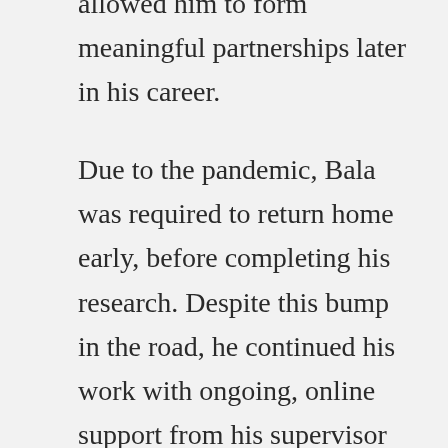allowed him to form meaningful partnerships later in his career.
Due to the pandemic, Bala was required to return home early, before completing his research. Despite this bump in the road, he continued his work with ongoing, online support from his supervisor in Canada and his fellow QES-AS scholars. His international experience and newfound support networks helped him achieve his